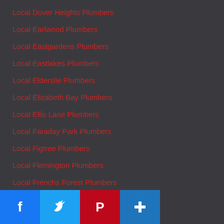Local Dover Heights Plumbers
Local Earlwood Plumbers
Local Eastgardens Plumbers
Local Eastlakes Plumbers
Local Elderslie Plumbers
Local Elizabeth Bay Plumbers
Local Ellis Lane Plumbers
Local Faraday Park Plumbers
Local Figtree Plumbers
Local Flemington Plumbers
Local Frenchs Forest Plumbers
Local Fullers Bridge Plumbers
Local Georges Head Plumbers
Local Glades Bay Plumbers
Local Gladesville Plumbers
Local Glebe Plumbers
Local Grasmere Plumbers
Local Grose Wold Plumbers
Local Grebe Vale Plumbers
[Figure (infographic): Social sharing bar with Facebook, Twitter, Pinterest, and AddThis buttons]